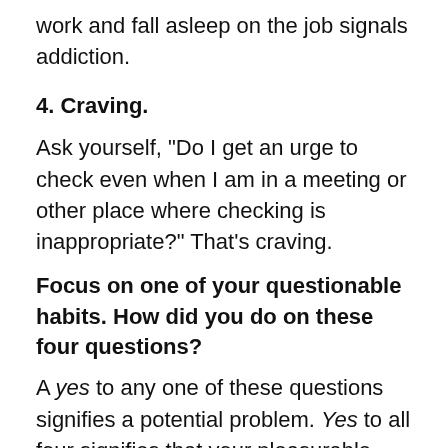work and fall asleep on the job signals addiction.
4. Craving.
Ask yourself, "Do I get an urge to check even when I am in a meeting or other place where checking is inappropriate?" That's craving.
Focus on one of your questionable habits. How did you do on these four questions?
A yes to any one of these questions signifies a potential problem. Yes to all four signifies that your pleasurable and at times functional habit has slipped from habit into addiction.